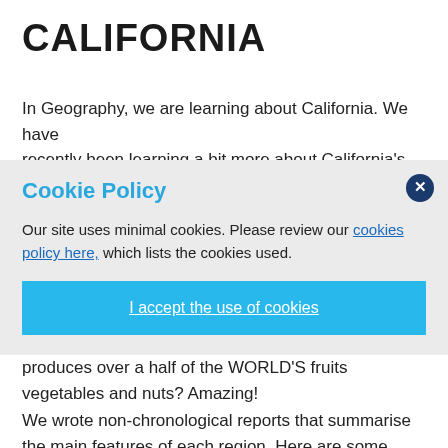CALIFORNIA
In Geography, we are learning about California. We have recently been learning a bit more about California's four
Cookie Policy
Our site uses minimal cookies. Please review our cookies policy here, which lists the cookies used.
I accept the use of cookies
which once housed some of America's most notorious inmates, or that the Central Valley region produces over a half of the WORLD'S fruits vegetables and nuts? Amazing!
We wrote non-chronological reports that summarise the main features of each region. Here are some examples…